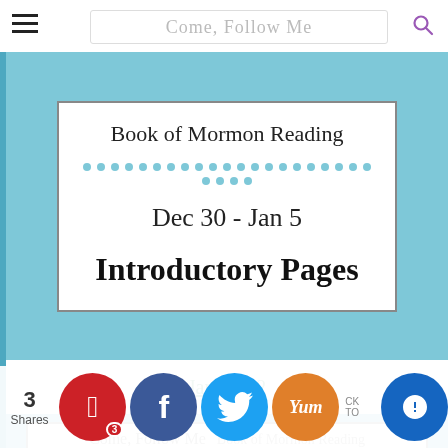Come, Follow Me
Book of Mormon Reading
Dec 30 - Jan 5
Introductory Pages
Jan 6 - 12
Come, Follow Me
Book of Mormon Reading